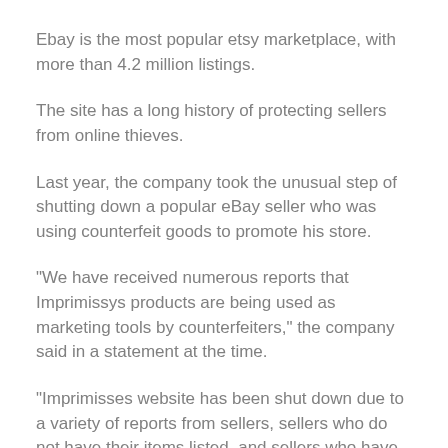Ebay is the most popular etsy marketplace, with more than 4.2 million listings.
The site has a long history of protecting sellers from online thieves.
Last year, the company took the unusual step of shutting down a popular eBay seller who was using counterfeit goods to promote his store.
“We have received numerous reports that Imprimissys products are being used as marketing tools by counterfeiters,” the company said in a statement at the time.
“Imprimisses website has been shut down due to a variety of reports from sellers, sellers who do not have their items listed, and sellers who have failed to comply with